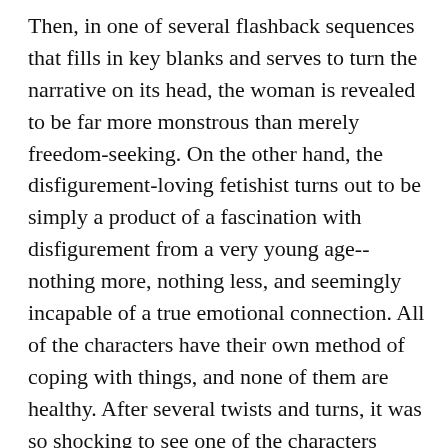Then, in one of several flashback sequences that fills in key blanks and serves to turn the narrative on its head, the woman is revealed to be far more monstrous than merely freedom-seeking. On the other hand, the disfigurement-loving fetishist turns out to be simply a product of a fascination with disfigurement from a very young age--nothing more, nothing less, and seemingly incapable of a true emotional connection. All of the characters have their own method of coping with things, and none of them are healthy. After several twists and turns, it was so shocking to see one of the characters accidentally get brutally injured that I thought at first that it was some sort of dream sequence. Instead, it's a harbinger of the end, as a literally explosive moment provides a sudden and stunning ending for all of the characters. The ones who live and wind up together prove convincin the given how little they have done to